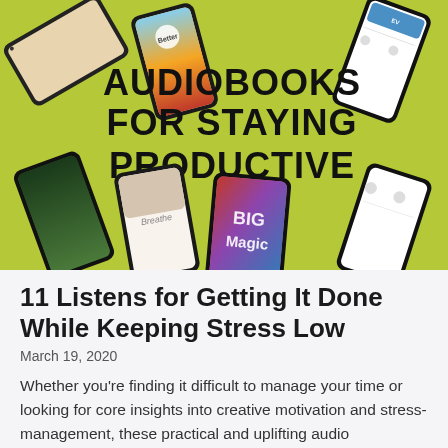[Figure (illustration): Promotional image showing multiple smartphone screens displaying audiobook covers arranged on a yellow-green background, with bold text reading 'AUDIOBOOKS FOR STAYING PRODUCTIVE']
11 Listens for Getting It Done While Keeping Stress Low
March 19, 2020
Whether you're finding it difficult to manage your time or looking for core insights into creative motivation and stress-management, these practical and uplifting audio